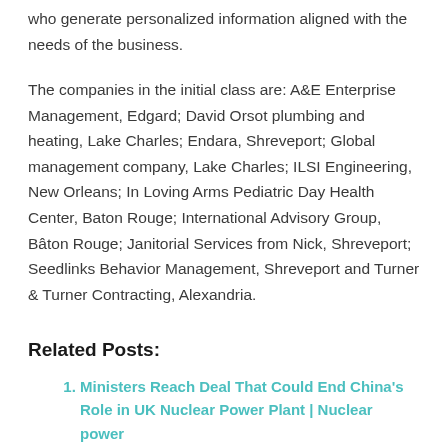who generate personalized information aligned with the needs of the business.
The companies in the initial class are: A&E Enterprise Management, Edgard; David Orsot plumbing and heating, Lake Charles; Endara, Shreveport; Global management company, Lake Charles; ILSI Engineering, New Orleans; In Loving Arms Pediatric Day Health Center, Baton Rouge; International Advisory Group, Bâton Rouge; Janitorial Services from Nick, Shreveport; Seedlinks Behavior Management, Shreveport and Turner & Turner Contracting, Alexandria.
Related Posts:
Ministers Reach Deal That Could End China's Role in UK Nuclear Power Plant | Nuclear power
An immersive and absurd spectacle to remember